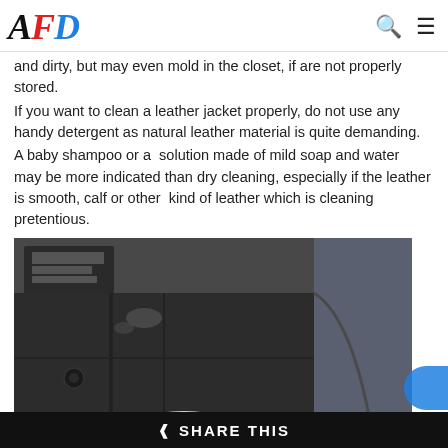AFD
and dirty, but may even mold in the closet, if are not properly stored. If you want to clean a leather jacket properly, do not use any handy detergent as natural leather material is quite demanding. A baby shampoo or a solution made of mild soap and water may be more indicated than dry cleaning, especially if the leather is smooth, calf or other kind of leather which is cleaning pretentious.
[Figure (photo): Close-up photo of a dirty dark leather jacket being cleaned, showing seams, buttons, and a white cleaning cloth/sponge on the surface.]
SHARE THIS